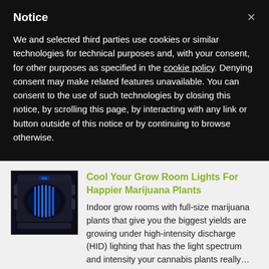Notice
We and selected third parties use cookies or similar technologies for technical purposes and, with your consent, for other purposes as specified in the cookie policy. Denying consent may make related features unavailable. You can consent to the use of such technologies by closing this notice, by scrolling this page, by interacting with any link or button outside of this notice or by continuing to browse otherwise.
[Figure (photo): Dark grow room light fixture with blue LED strips visible, square shaped with ventilation slots]
Cool Your Grow Room Lights For Happier Marijuana Plants
Indoor grow rooms with full-size marijuana plants that give you the biggest yields are growing under high-intensity discharge (HID) lighting that has the light spectrum and intensity your cannabis plants really…